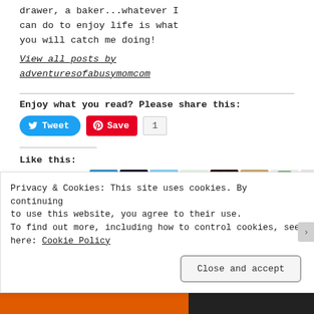drawer, a baker...whatever I can do to enjoy life is what you will catch me doing!
View all posts by adventuresofabusymomcom
Enjoy what you read? Please share this:
[Figure (screenshot): Tweet and Save social sharing buttons with count of 1]
Like this:
[Figure (screenshot): Like button and row of user avatar images]
Privacy & Cookies: This site uses cookies. By continuing to use this website, you agree to their use. To find out more, including how to control cookies, see here: Cookie Policy
Close and accept